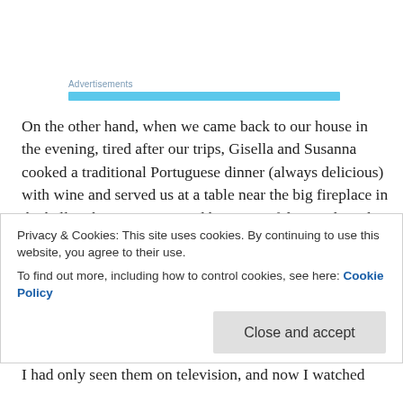Advertisements
On the other hand, when we came back to our house in the evening, tired after our trips, Gisella and Susanna cooked a traditional Portuguese dinner (always delicious) with wine and served us at a table near the big fireplace in the hall at the time appointed by us. We felt ourselves the rich, owners of the manor, surrounded by servants, and always got freshly baked hot rolls for breakfast. It is no surprise that Irina brought home a couple of extra kilos from that
Privacy & Cookies: This site uses cookies. By continuing to use this website, you agree to their use.
To find out more, including how to control cookies, see here: Cookie Policy
I had only seen them on television, and now I watched